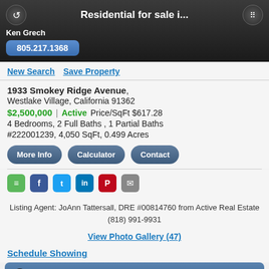Residential for sale i...
Ken Grech
805.217.1368
New Search  Save Property
1933 Smokey Ridge Avenue, Westlake Village, California 91362
$2,500,000 | Active  Price/SqFt $617.28
4 Bedrooms, 2 Full Baths , 1 Partial Baths
#222001239, 4,050 SqFt, 0.499 Acres
More Info  Calculator  Contact
Listing Agent: JoAnn Tattersall, DRE #00814760 from Active Real Estate (818) 991-9931
View Photo Gallery (47)
Schedule Showing
Description